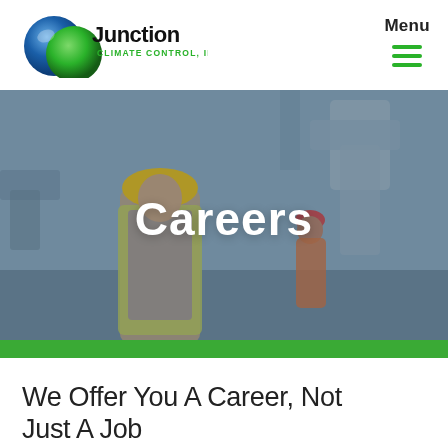[Figure (logo): Junction Climate Control Inc. company logo with blue and green globe icon]
Menu
[Figure (illustration): Two HVAC workers in safety vests and hard hats working with ductwork in an industrial setting, with 'Careers' text overlay]
We Offer You A Career, Not Just A Job